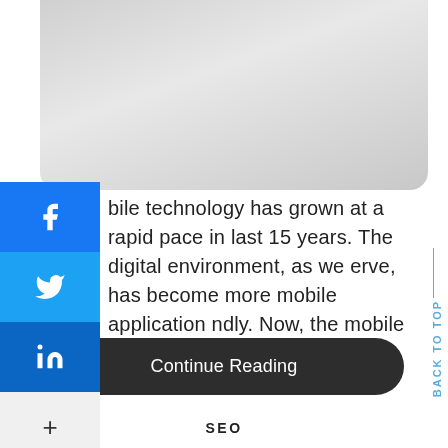[Figure (photo): Gray placeholder image at the top of the page]
[Figure (infographic): Social sharing sidebar with Facebook, Twitter, LinkedIn, and more (+) buttons]
bile technology has grown at a rapid pace in last 15 years. The digital environment, as we erve, has become more mobile application ndly. Now, the mobile e-apps are...
Continue Reading
BACK TO TOP
SEO